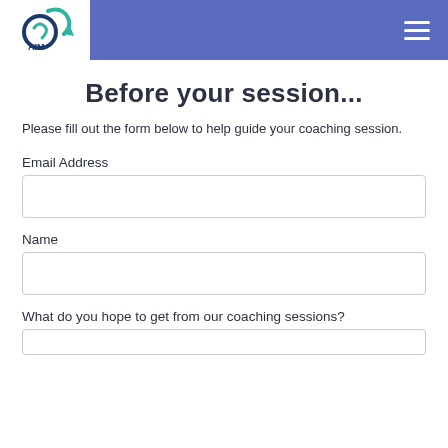[Figure (logo): AIM coaching logo with teal arrow and circular icon, white background on left of blue header bar]
Before your session...
Please fill out the form below to help guide your coaching session.
Email Address
Name
What do you hope to get from our coaching sessions?